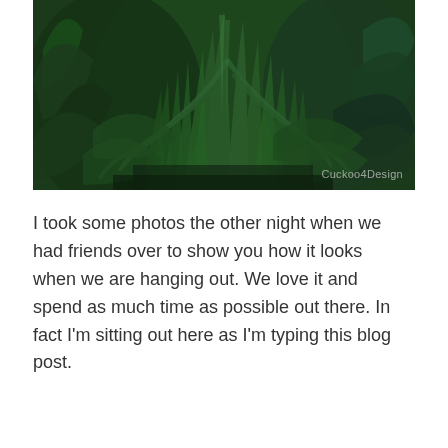[Figure (photo): A close-up nighttime photo of dense green ornamental grasses and large-leafed plants with a watermark reading 'Cuckoo4Design' in the lower right corner.]
I took some photos the other night when we had friends over to show you how it looks when we are hanging out. We love it and spend as much time as possible out there. In fact I'm sitting out here as I'm typing this blog post.